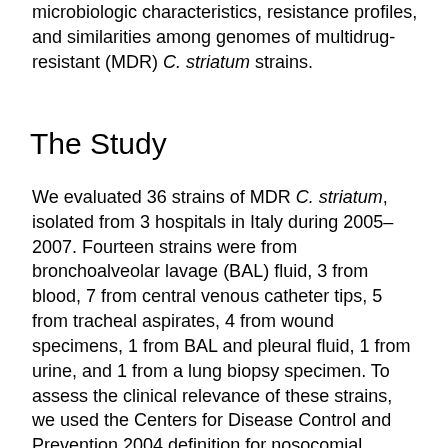microbiologic characteristics, resistance profiles, and similarities among genomes of multidrug-resistant (MDR) C. striatum strains.
The Study
We evaluated 36 strains of MDR C. striatum, isolated from 3 hospitals in Italy during 2005–2007. Fourteen strains were from bronchoalveolar lavage (BAL) fluid, 3 from blood, 7 from central venous catheter tips, 5 from tracheal aspirates, 4 from wound specimens, 1 from BAL and pleural fluid, 1 from urine, and 1 from a lung biopsy specimen. To assess the clinical relevance of these strains, we used the Centers for Disease Control and Prevention 2004 definition for nosocomial infections (www.cdc.gov/ncidod/dhqp/nnis_pubs.html) (1) and tracked antimicrobial drug–resistance determinants.